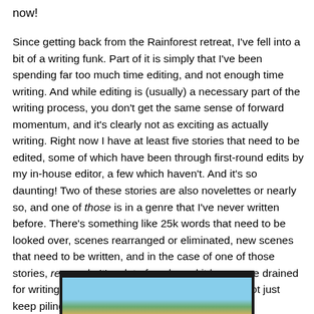now!
Since getting back from the Rainforest retreat, I've fell into a bit of a writing funk. Part of it is simply that I've been spending far too much time editing, and not enough time writing. And while editing is (usually) a necessary part of the writing process, you don't get the same sense of forward momentum, and it's clearly not as exciting as actually writing. Right now I have at least five stories that need to be edited, some of which have been through first-round edits by my in-house editor, a few which haven't. And it's so daunting! Two of these stories are also novelettes or nearly so, and one of those is in a genre that I've never written before. There's something like 25k words that need to be looked over, scenes rearranged or eliminated, new scenes that need to be written, and in the case of one of those stories, research. It's a lot of work, and it leaves me drained for writing new stuff. I need to finish what I start, not just keep piling on new projects.
[Figure (photo): Partial view of a photo with dark border, showing sky and landscape at the bottom of the page.]